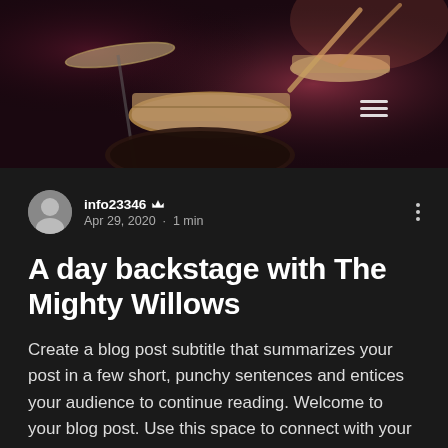[Figure (photo): Dark photograph of a drum kit on stage with moody red/purple stage lighting, partially visible drummer in background]
info23346 👑
Apr 29, 2020 · 1 min
A day backstage with The Mighty Willows
Create a blog post subtitle that summarizes your post in a few short, punchy sentences and entices your audience to continue reading. Welcome to your blog post. Use this space to connect with your readers and potential customers in a way that's current and interesting. Think of it as an ongoing conversation where